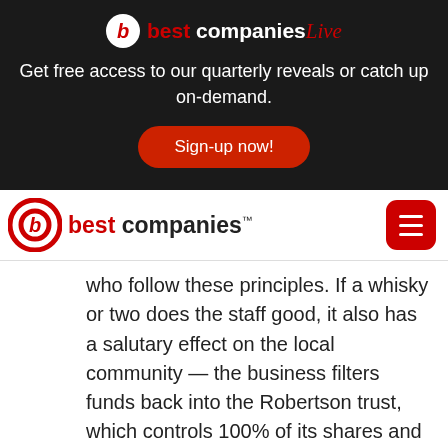[Figure (logo): Best Companies Live logo with dark banner background, tagline, and sign-up button]
Get free access to our quarterly reveals or catch up on-demand.
Sign-up now!
[Figure (logo): Best Companies navigation bar logo with hamburger menu button]
who follow these principles. If a whisky or two does the staff good, it also has a salutary effect on the local community — the business filters funds back into the Robertson trust, which controls 100% of its shares and was established by three sisters and inheritors of the firm in 1961.